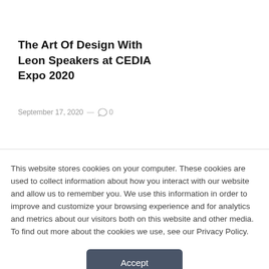The Art Of Design With Leon Speakers at CEDIA Expo 2020
September 17, 2020 — 0
This website stores cookies on your computer. These cookies are used to collect information about how you interact with our website and allow us to remember you. We use this information in order to improve and customize your browsing experience and for analytics and metrics about our visitors both on this website and other media. To find out more about the cookies we use, see our Privacy Policy.
Accept